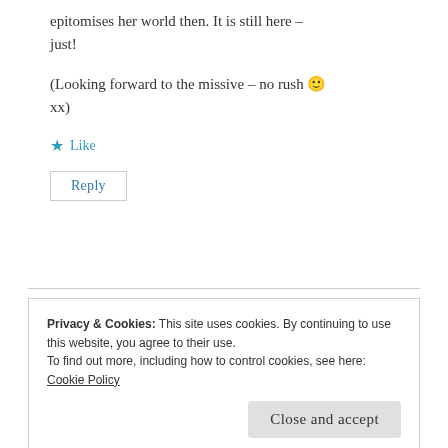epitomises her world then. It is still here – just!
(Looking forward to the missive – no rush 🙂 xx)
★ Like
Reply
Privacy & Cookies: This site uses cookies. By continuing to use this website, you agree to their use.
To find out more, including how to control cookies, see here: Cookie Policy
Close and accept